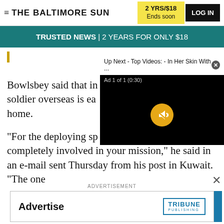THE BALTIMORE SUN | 2 YRS/$18 Ends soon | LOG IN
TRUSTED NEWS | 2 YEARS FOR ONLY $18
[Figure (screenshot): Video popup overlay: 'Up Next - Top Videos: - In Her Skin With ...' with Ad 1 of 1 (0:30) label and mute button on black background]
Bowlsbey said that in soldier overseas is ea home.
"For the deploying sp completely involved in your mission," he said in an e-mail sent Thursday from his post in Kuwait. "The one
ADVERTISEMENT
[Figure (logo): Tribune Publishing advertisement box with 'Advertise' text and Tribune Publishing logo]